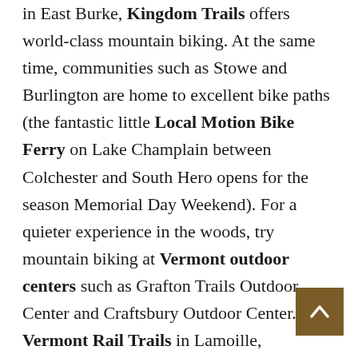in East Burke, Kingdom Trails offers world-class mountain biking. At the same time, communities such as Stowe and Burlington are home to excellent bike paths (the fantastic little Local Motion Bike Ferry on Lake Champlain between Colchester and South Hero opens for the season Memorial Day Weekend). For a quieter experience in the woods, try mountain biking at Vermont outdoor centers such as Grafton Trails Outdoor Center and Craftsbury Outdoor Center. Vermont Rail Trails in Lamoille, Chittenden, Franklin, and Rutland counties are another fun option for biking across scenic areas of Vermont.
[Figure (other): Back to top button: a dark brown/tan square button with an upward-pointing arrow icon]